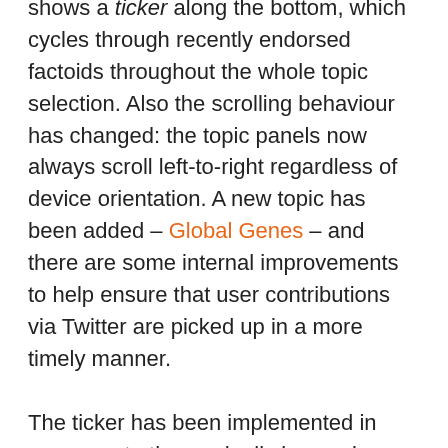shows a ticker along the bottom, which cycles through recently endorsed factoids throughout the whole topic selection. Also the scrolling behaviour has changed: the topic panels now always scroll left-to-right regardless of device orientation. A new topic has been added – Global Genes – and there are some internal improvements to help ensure that user contributions via Twitter are picked up in a more timely manner.
The ticker has been implemented in response to the gradually increasing number of topics supported by ODDT: you may be interested in quite a few of them, but opening up each of the